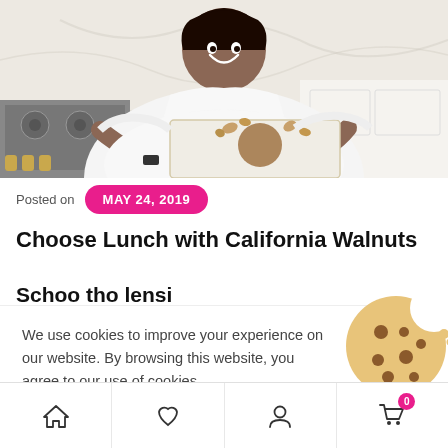[Figure (photo): Woman in white long-sleeve top smiling and holding a box of California Walnuts product in a kitchen setting]
Posted on MAY 24, 2019
Choose Lunch with California Walnuts
We use cookies to improve your experience on our website. By browsing this website, you agree to our use of cookies.
ACCEPT
Home | Wishlist | Profile | Cart (0)